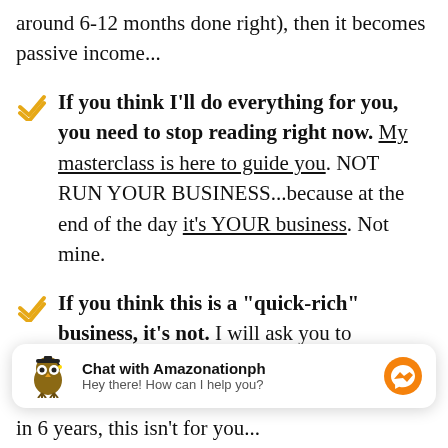around 6-12 months done right), then it becomes passive income...
If you think I'll do everything for you, you need to stop reading right now. My masterclass is here to guide you. NOT RUN YOUR BUSINESS...because at the end of the day it's YOUR business. Not mine.
If you think this is a "quick-rich" business, it's not. I will ask you to dedicate at least 6 months of your life to
[Figure (infographic): Chat widget with owl logo for Amazonationph. Text: 'Chat with Amazonationph' and 'Hey there! How can I help you?' with a Facebook Messenger icon on the right.]
in 6 years, this isn't for you...